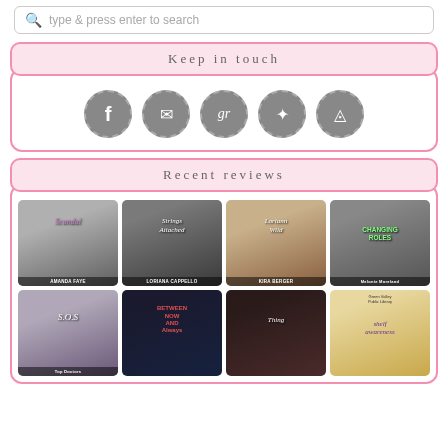type & press enter to search
Keep in touch
[Figure (infographic): Social media icons: Facebook, Email, Goodreads, Twitter, Instagram — circular gray dashed-border icons]
Recent reviews
[Figure (infographic): Grid of 8 book covers: Row 1: Amanda Faye book, Loriana Cappello 'Strings Attached', Kira Berger 'Loriann Wild', Melonie Moreland 'Changing Roles'. Row 2: 'S.O.S.' by top doctors, 'Between Now and Always', unnamed dark book, 'Shelf Awareness' Green Valley Public Library]